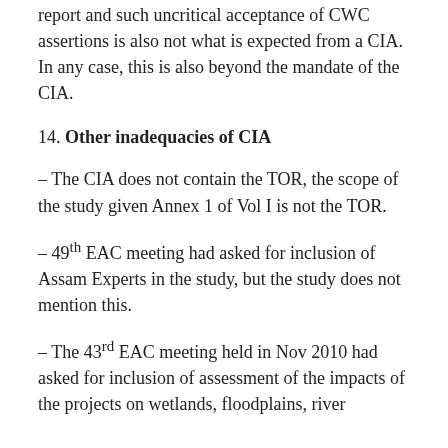report and such uncritical acceptance of CWC assertions is also not what is expected from a CIA. In any case, this is also beyond the mandate of the CIA.
14. Other inadequacies of CIA
– The CIA does not contain the TOR, the scope of the study given Annex 1 of Vol I is not the TOR.
– 49th EAC meeting had asked for inclusion of Assam Experts in the study, but the study does not mention this.
– The 43rd EAC meeting held in Nov 2010 had asked for inclusion of assessment of the impacts of the projects on wetlands, floodplains, river